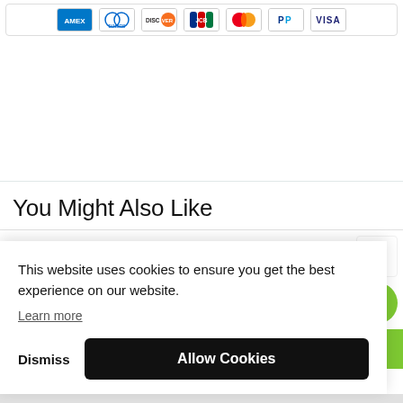[Figure (other): Payment method icons row: Amex, Diners Club, Discover, JCB, Mastercard, PayPal, Visa]
You Might Also Like
This website uses cookies to ensure you get the best experience on our website. Learn more
Dismiss | Allow Cookies